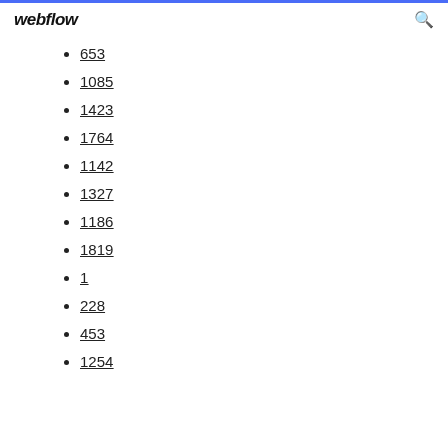webflow
653
1085
1423
1764
1142
1327
1186
1819
1
228
453
1254